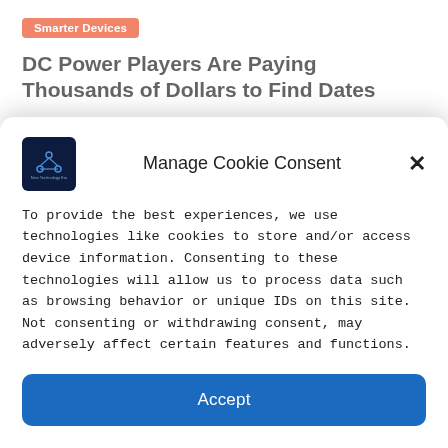Smarter Devices
DC Power Players Are Paying Thousands of Dollars to Find Dates
New Technology Era   June 24, 2022   0
[Figure (logo): New Technology Era website logo — dark navy square with a circuit/network icon and small text]
Manage Cookie Consent
To provide the best experiences, we use technologies like cookies to store and/or access device information. Consenting to these technologies will allow us to process data such as browsing behavior or unique IDs on this site. Not consenting or withdrawing consent, may adversely affect certain features and functions.
Accept